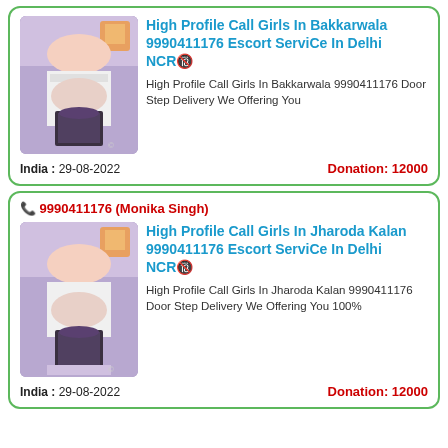[Figure (other): Listing card 1: High Profile Call Girls In Bakkarwala 9990411176 Escort ServiCe In Delhi NCR. Shows a photo thumbnail, description text, date India: 29-08-2022, Donation: 12000]
[Figure (other): Listing card 2 with phone header 9990411176 (Monika Singh): High Profile Call Girls In Jharoda Kalan 9990411176 Escort ServiCe In Delhi NCR. Shows a photo thumbnail, description text, date India: 29-08-2022, Donation: 12000]